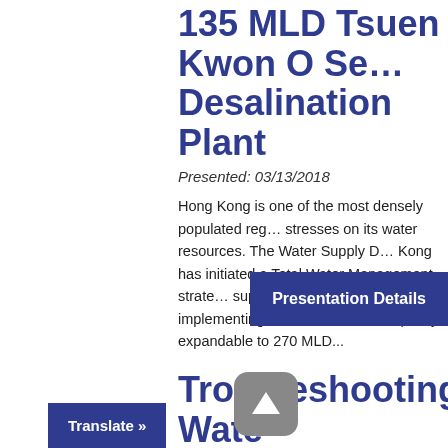135 MLD Tsuen Kwon O Seawater Desalination Plant
Presented: 03/13/2018
Hong Kong is one of the most densely populated regions and faces increasing stresses on its water resources. The Water Supply Department of Hong Kong has initiated a Total Water Management strategy to ensure future water supply. As part of this effort, it is implementing a seawater desalination plant with 135 MLD capacity, expandable to 270 MLD...
Presentation Details
Troubleshooting Water Quality and Operational Issues During th...
Translate »